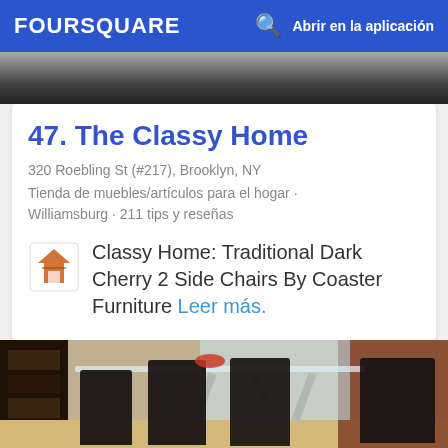FOURSQUARE  Abrir en la aplicación
[Figure (photo): Top partial photo strip showing dark background]
47. The Classy Home
320 Roebling St (#217), Brooklyn, NY
Tienda de muebles/artículos para el hogar · Williamsburg · 211 tips y reseñas
Classy Home: Traditional Dark Cherry 2 Side Chairs By Coaster Furniture Leer más.
[Figure (photo): Interior photo of a modern dining room with a glass table and dark chairs, bookshelf on left, brown accent wall on right, windows in background]